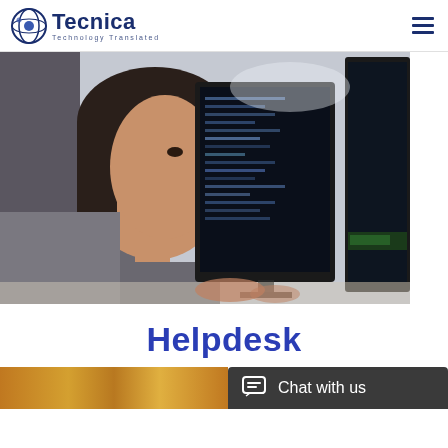Tecnica — Technology Translated
[Figure (photo): Woman in side profile view working at multiple computer monitors displaying code/data screens in a dark environment]
Helpdesk
[Figure (screenshot): Chat with us button/widget with dark background and chat icon, plus bottom colorful strip]